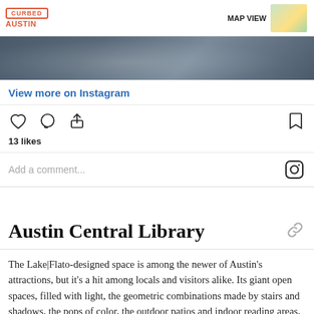CURBED AUSTIN
MAP VIEW
[Figure (photo): Aerial/street photo strip of a road with markings, dark pavement]
View more on Instagram
13 likes
Add a comment...
Austin Central Library
The Lake|Flato-designed space is among the newer of Austin's attractions, but it's a hit among locals and visitors alike. Its giant open spaces, filled with light, the geometric combinations made by stairs and shadows, the pops of color, the outdoor patios and indoor reading areas, the views, and the people-watching area all divine—as is, of course, its